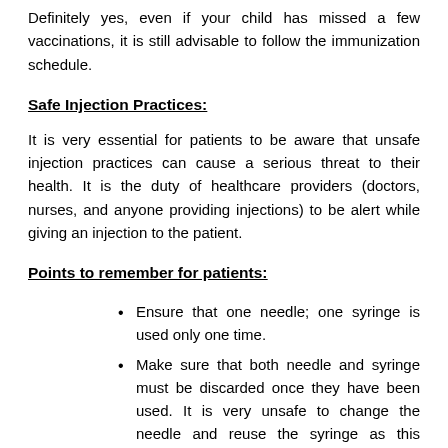Definitely yes, even if your child has missed a few vaccinations, it is still advisable to follow the immunization schedule.
Safe Injection Practices:
It is very essential for patients to be aware that unsafe injection practices can cause a serious threat to their health. It is the duty of healthcare providers (doctors, nurses, and anyone providing injections) to be alert while giving an injection to the patient.
Points to remember for patients:
Ensure that one needle; one syringe is used only one time.
Make sure that both needle and syringe must be discarded once they have been used. It is very unsafe to change the needle and reuse the syringe as this practice can transmit disease.